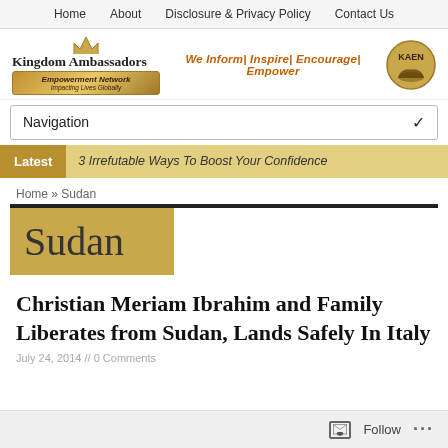Home   About   Disclosure & Privacy Policy   Contact Us
[Figure (logo): Kingdom Ambassadors Empowerment Network logo with crown, gold banner, and KAEN hands logo. Tagline: We Inform| Inspire| Encourage| Empower]
Navigation
Latest   3 Irrefutable Ways To Boost Your Confidence
Home » Sudan
Sudan
Christian Meriam Ibrahim and Family Liberates from Sudan, Lands Safely In Italy
July 24, 2014 // 0 Comments
Follow ...